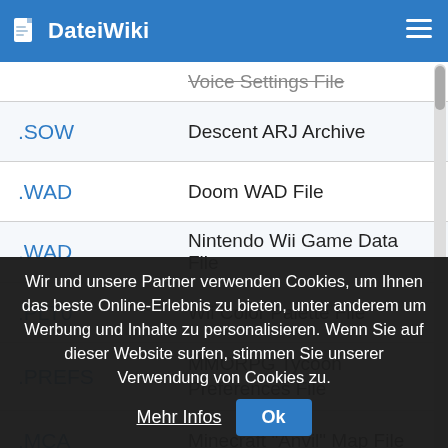DateiWiki
| Extension | Description |
| --- | --- |
|   | Voice Settings File |
| .SOW | Descent ARJ Archive |
| .WAD | Doom WAD File |
| .WAD | Nintendo Wii Game Data File |
| .PLT0 | Wii Color Palette File |
| .PREFS | MMORPG Tycoon Preferences File |
| .MCA | Minecraft "Anvil" Map File |
Wir und unsere Partner verwenden Cookies, um Ihnen das beste Online-Erlebnis zu bieten, unter anderem um Werbung und Inhalte zu personalisieren. Wenn Sie auf dieser Website surfen, stimmen Sie unserer Verwendung von Cookies zu. Mehr Infos Ok